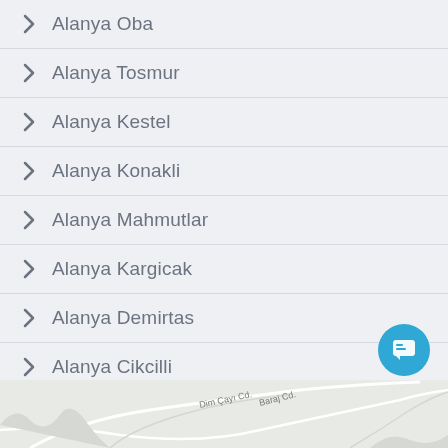Alanya Oba
Alanya Tosmur
Alanya Kestel
Alanya Konakli
Alanya Mahmutlar
Alanya Kargicak
Alanya Demirtas
Alanya Cikcilli
Alanya Avsallar
[Figure (map): Street map showing Dim Çayı Cd. and Baraj Cd. roads in Alanya area]